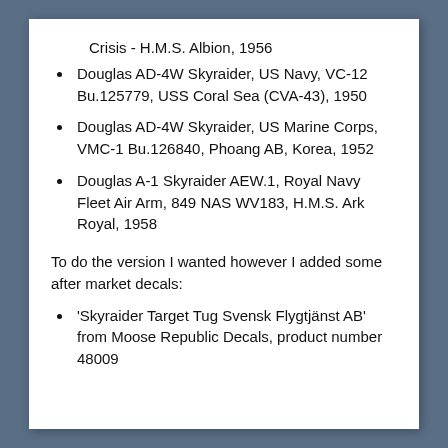Crisis - H.M.S. Albion, 1956
Douglas AD-4W Skyraider, US Navy, VC-12 Bu.125779, USS Coral Sea (CVA-43), 1950
Douglas AD-4W Skyraider, US Marine Corps, VMC-1 Bu.126840, Phoang AB, Korea, 1952
Douglas A-1 Skyraider AEW.1, Royal Navy Fleet Air Arm, 849 NAS WV183, H.M.S. Ark Royal, 1958
To do the version I wanted however I added some after market decals:
'Skyraider Target Tug Svensk Flygtjänst AB' from Moose Republic Decals, product number 48009